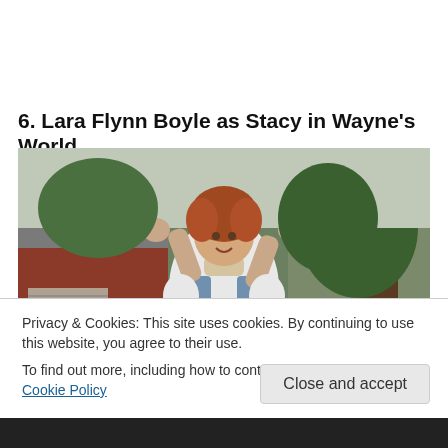6. Lara Flynn Boyle as Stacy in Wayne's World
[Figure (photo): A woman with curly red hair wearing a neck brace, white crop top, denim jacket, and blue skirt, standing outdoors with hands raised, in a scene from Wayne's World.]
Privacy & Cookies: This site uses cookies. By continuing to use this website, you agree to their use.
To find out more, including how to control cookies, see here: Cookie Policy
Close and accept